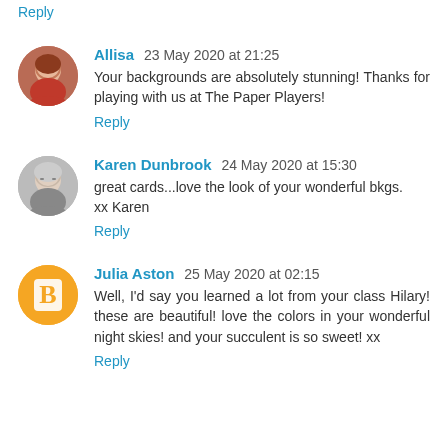Reply
Allisa 23 May 2020 at 21:25
Your backgrounds are absolutely stunning! Thanks for playing with us at The Paper Players!
Reply
Karen Dunbrook 24 May 2020 at 15:30
great cards...love the look of your wonderful bkgs.
xx Karen
Reply
Julia Aston 25 May 2020 at 02:15
Well, I'd say you learned a lot from your class Hilary! these are beautiful! love the colors in your wonderful night skies! and your succulent is so sweet! xx
Reply